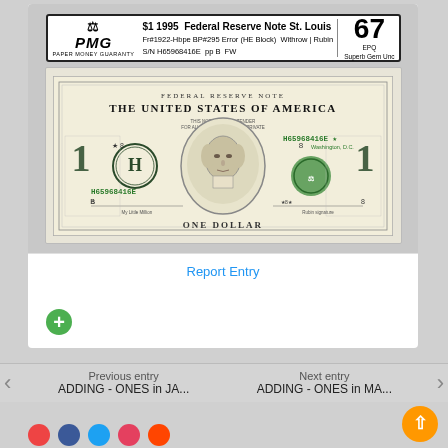[Figure (photo): PMG graded $1 1995 Federal Reserve Note St. Louis, Fr#1922-Hbpe BP#295 Error (HE Block) Withrow | Rubin, S/N H65968416E pp B FW, graded 67 EPQ Superb Gem Unc. Shows front of the one dollar bill with George Washington portrait.]
Report Entry
+
Previous entry
ADDING - ONES in JA...
Next entry
ADDING - ONES in MA...